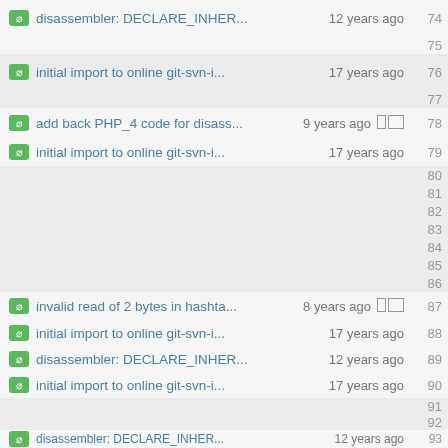disassembler: DECLARE_INHER... 12 years ago  74
75
initial import to online git-svn-i... 17 years ago  76
77
add back PHP_4 code for disass... 9 years ago  [blame]  78
initial import to online git-svn-i... 17 years ago  79
80
81
82
83
84
85
86
invalid read of 2 bytes in hashta... 8 years ago  [blame]  87
initial import to online git-svn-i... 17 years ago  88
disassembler: DECLARE_INHER... 12 years ago  89
initial import to online git-svn-i... 17 years ago  90
91
92
disassembler: DECLARE_INHER... 12 years ago  93
initial import to online git-svn-i... 17 years ago  94
95